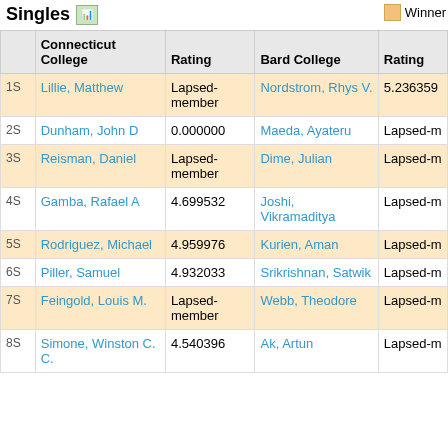Singles
Winner
|  | Connecticut College | Rating | Bard College | Rating |
| --- | --- | --- | --- | --- |
| 1S | Lillie, Matthew | Lapsed-member | Nordstrom, Rhys V. | 5.236359 |
| 2S | Dunham, John D | 0.000000 | Maeda, Ayateru | Lapsed-m |
| 3S | Reisman, Daniel | Lapsed-member | Dime, Julian | Lapsed-m |
| 4S | Gamba, Rafael A | 4.699532 | Joshi, Vikramaditya | Lapsed-m |
| 5S | Rodriguez, Michael | 4.959976 | Kurien, Aman | Lapsed-m |
| 6S | Piller, Samuel | 4.932033 | Srikrishnan, Satwik | Lapsed-m |
| 7S | Feingold, Louis M. | Lapsed-member | Webb, Theodore | Lapsed-m |
| 8S | Simone, Winston C. C. | 4.540396 | Ak, Artun | Lapsed-m |